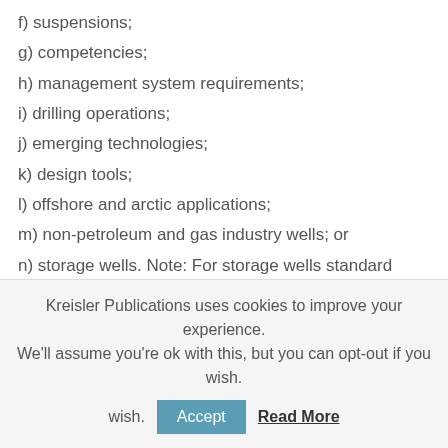f) suspensions;
g) competencies;
h) management system requirements;
i) drilling operations;
j) emerging technologies;
k) design tools;
l) offshore and arctic applications;
m) non-petroleum and gas industry wells; or
n) storage wells. Note: For storage wells standard refer to CSA Z341.
This Standard is intended to establish essential requirements and minimum standards for the design of
Kreisler Publications uses cookies to improve your experience. We'll assume you're ok with this, but you can opt-out if you wish.
Accept  Read More